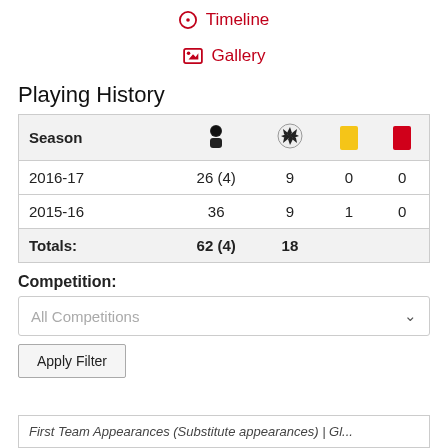Timeline
Gallery
Playing History
| Season | 👤 | ⚽ | 🟨 | 🟥 |
| --- | --- | --- | --- | --- |
| 2016-17 | 26 (4) | 9 | 0 | 0 |
| 2015-16 | 36 | 9 | 1 | 0 |
| Totals: | 62 (4) | 18 |  |  |
Competition:
All Competitions
Apply Filter
First Team Appearances (Substitute appearances) | Gl...